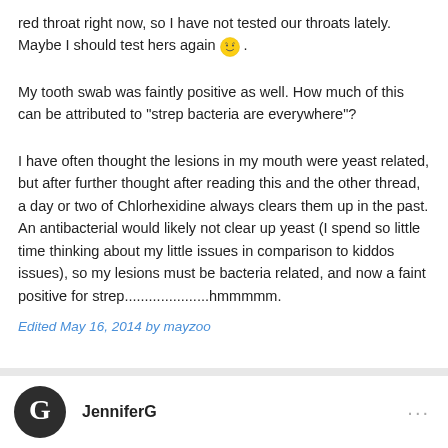red throat right now, so I have not tested our throats lately. Maybe I should test hers again 😊 .
My tooth swab was faintly positive as well. How much of this can be attributed to "strep bacteria are everywhere"?
I have often thought the lesions in my mouth were yeast related, but after further thought after reading this and the other thread, a day or two of Chlorhexidine always clears them up in the past. An antibacterial would likely not clear up yeast (I spend so little time thinking about my little issues in comparison to kiddos issues), so my lesions must be bacteria related, and now a faint positive for strep.....................hmmmmm.
Edited May 16, 2014 by mayzoo
JenniferG